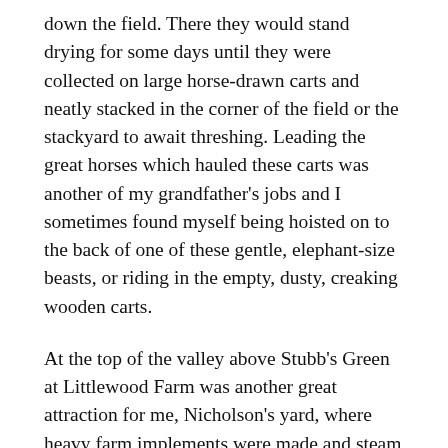down the field. There they would stand drying for some days until they were collected on large horse-drawn carts and neatly stacked in the corner of the field or the stackyard to await threshing. Leading the great horses which hauled these carts was another of my grandfather's jobs and I sometimes found myself being hoisted on to the back of one of these gentle, elephant-size beasts, or riding in the empty, dusty, creaking wooden carts.
At the top of the valley above Stubb's Green at Littlewood Farm was another great attraction for me, Nicholson's yard, where heavy farm implements were made and steam traction engines maintained. These great engines would haul the belt-driven threshing machines, or 'drums' as they were known, and the long mobile straw elevators. Perhaps the noisiest, dirtiest and most strenuous operations of the harvest were feeding the sheaves into the drum hopper with its myriad of fast moving belts, spinning wheels and roaring mechanism and the constant throb of the traction